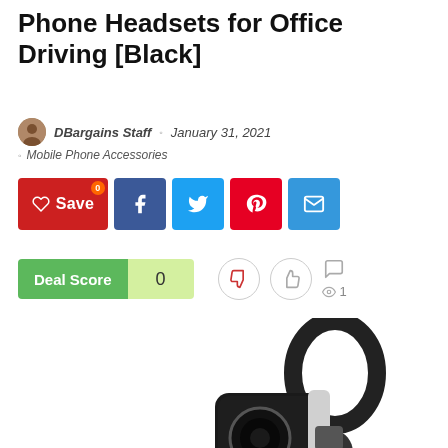Phone Headsets for Office Driving [Black]
DBargains Staff · January 31, 2021 · Mobile Phone Accessories
[Figure (screenshot): Social share bar with Save, Facebook, Twitter, Pinterest, and email buttons]
[Figure (infographic): Deal Score widget showing score of 0 with thumbs up/down vote icons and view count of 1]
[Figure (photo): Black Bluetooth phone headset product photo with ear hook]